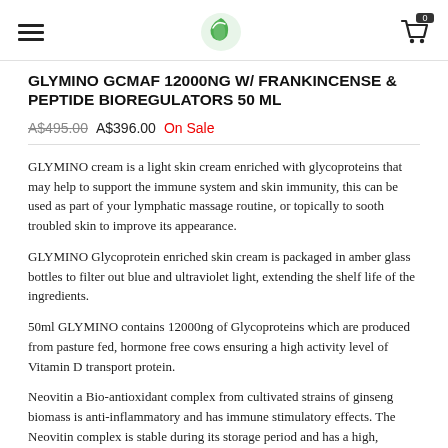Navigation header with hamburger menu, logo, and cart icon (0 items)
GLYMINO GCMAF 12000NG W/ FRANKINCENSE & PEPTIDE BIOREGULATORS 50 ML
A$495.00  A$396.00  On Sale
GLYMINO cream is a light skin cream enriched with glycoproteins that may help to support the immune system and skin immunity, this can be used as part of your lymphatic massage routine, or topically to sooth troubled skin to improve its appearance.
GLYMINO Glycoprotein enriched skin cream is packaged in amber glass bottles to filter out blue and ultraviolet light, extending the shelf life of the ingredients.
50ml GLYMINO contains 12000ng of Glycoproteins which are produced from pasture fed, hormone free cows ensuring a high activity level of Vitamin D transport protein.
Neovitin a Bio-antioxidant complex from cultivated strains of ginseng biomass is anti-inflammatory and has immune stimulatory effects. The Neovitin complex is stable during its storage period and has a high,